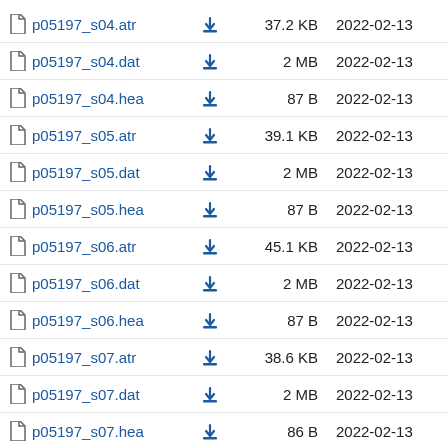|  | Filename |  | Size | Date |
| --- | --- | --- | --- | --- |
|  | p05197_s04.atr | ⬇ | 37.2 KB | 2022-02-13 |
|  | p05197_s04.dat | ⬇ | 2 MB | 2022-02-13 |
|  | p05197_s04.hea | ⬇ | 87 B | 2022-02-13 |
|  | p05197_s05.atr | ⬇ | 39.1 KB | 2022-02-13 |
|  | p05197_s05.dat | ⬇ | 2 MB | 2022-02-13 |
|  | p05197_s05.hea | ⬇ | 87 B | 2022-02-13 |
|  | p05197_s06.atr | ⬇ | 45.1 KB | 2022-02-13 |
|  | p05197_s06.dat | ⬇ | 2 MB | 2022-02-13 |
|  | p05197_s06.hea | ⬇ | 87 B | 2022-02-13 |
|  | p05197_s07.atr | ⬇ | 38.6 KB | 2022-02-13 |
|  | p05197_s07.dat | ⬇ | 2 MB | 2022-02-13 |
|  | p05197_s07.hea | ⬇ | 86 B | 2022-02-13 |
|  | p05197_s08.atr | ⬇ | 40.7 KB | 2022-02-13 |
|  | p05197_s08.dat | ⬇ | 2 MB | 2022-02-13 |